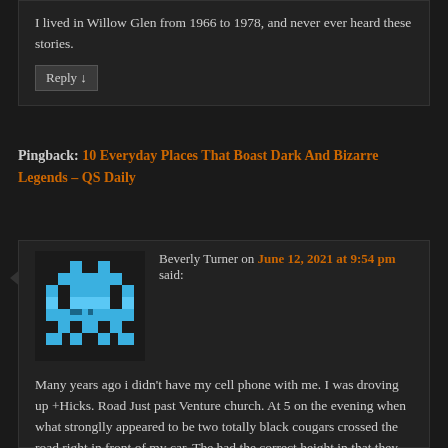I lived in Willow Glen from 1966 to 1978, and never ever heard these stories.
Reply ↓
Pingback: 10 Everyday Places That Boast Dark And Bizarre Legends – QS Daily
[Figure (illustration): Pixel art avatar of a blue space invader character on dark background]
Beverly Turner on June 12, 2021 at 9:54 pm said:
Many years ago i didn't have my cell phone with me. I was droving up +Hicks. Road Just past Venture church. At 5 on the evening when what stronglly appeared to be two totally black cougars crossed the road right in front of my car. The had the correct height in that they came up to the hood of my car at the withers had a cat